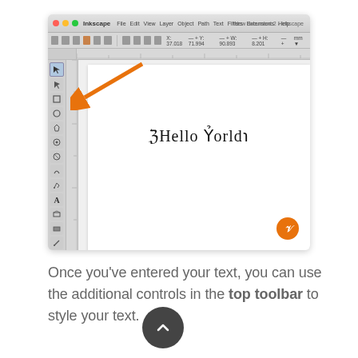[Figure (screenshot): Inkscape application window showing a canvas with 'Hello world!' text selected, with an orange arrow pointing to the selection tool in the left toolbar. A Vine watermark badge is in the bottom-right of the canvas.]
Once you've entered your text, you can use the additional controls in the top toolbar to style your text.